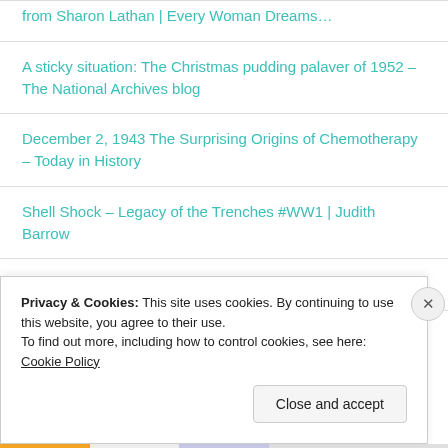from Sharon Lathan | Every Woman Dreams…
A sticky situation: The Christmas pudding palaver of 1952 – The National Archives blog
December 2, 1943 The Surprising Origins of Chemotherapy – Today in History
Shell Shock – Legacy of the Trenches #WW1 | Judith Barrow
Privacy & Cookies: This site uses cookies. By continuing to use this website, you agree to their use. To find out more, including how to control cookies, see here: Cookie Policy
Close and accept